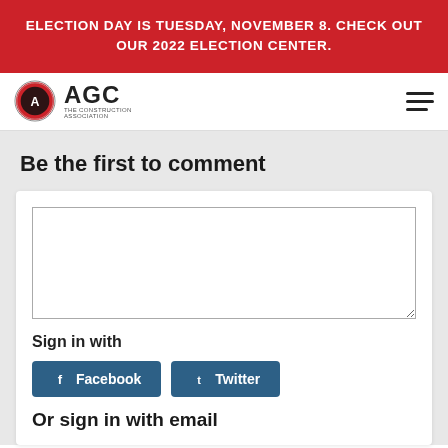ELECTION DAY IS TUESDAY, NOVEMBER 8. CHECK OUT OUR 2022 ELECTION CENTER.
[Figure (logo): AGC - The Construction Association logo with circular emblem and text]
Be the first to comment
Sign in with
Facebook
Twitter
Or sign in with email